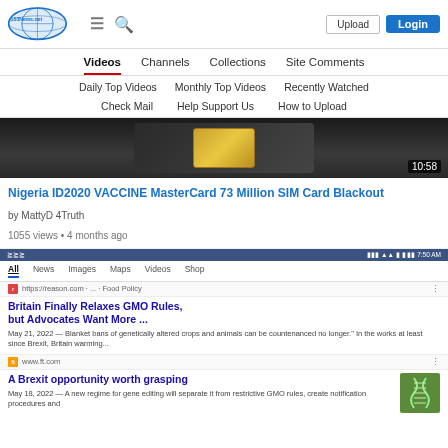153News.net — Upload | Login
Videos | Channels | Collections | Site Comments
Daily Top Videos | Monthly Top Videos | Recently Watched
Check Mail | Help Support Us | How to Upload
[Figure (screenshot): Video thumbnail showing SIM card with chip, duration 10:58]
Nigeria ID2020 VACCINE MasterCard 73 Million SIM Card Blackout
by MattyD 4Truth
1055 views • 4 months ago
[Figure (screenshot): Mobile browser screenshot showing search results: 'Britain Finally Relaxes GMO Rules, but Advocates Want More ...' from reason.com Food Policy, May 21 2022, and 'A Brexit opportunity worth grasping' from ft.com, May 18 2022]